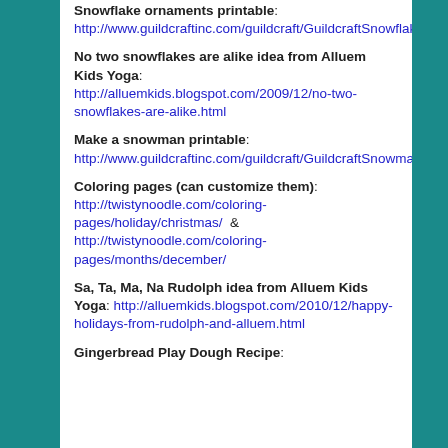Snowflake ornaments printable: http://www.guildcraftinc.com/guildcraft/GuildcraftSnowflakeorna…
No two snowflakes are alike idea from Alluem Kids Yoga: http://alluemkids.blogspot.com/2009/12/no-two-snowflakes-are-alike.html
Make a snowman printable: http://www.guildcraftinc.com/guildcraft/GuildcraftSnowmancutou…
Coloring pages (can customize them): http://twistynoodle.com/coloring-pages/holiday/christmas/  & http://twistynoodle.com/coloring-pages/months/december/
Sa, Ta, Ma, Na Rudolph idea from Alluem Kids Yoga: http://alluemkids.blogspot.com/2010/12/happy-holidays-from-rudolph-and-alluem.html
Gingerbread Play Dough Recipe: